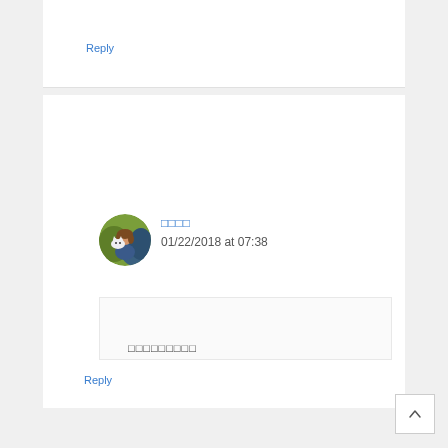Reply
[Figure (illustration): Circular avatar image showing an anime-style illustration of a person holding a white cat/rabbit, with green and blue background colors]
□□□□
01/22/2018 at 07:38
□□□□□□□□□
Reply